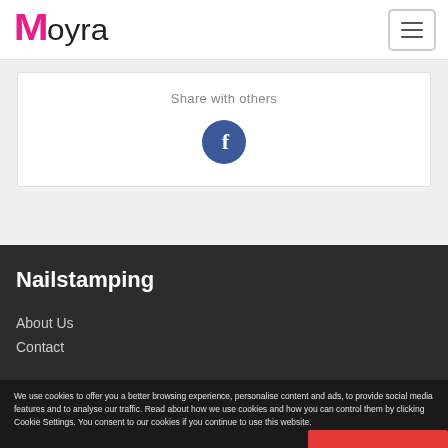Moyra
Share with others
[Figure (illustration): Facebook share button - blue circle with white letter f]
Nailstamping
About Us
Contact
We use cookies to offer you a better browsing experience, personalise content and ads, to provide social media features and to analyse our traffic. Read about how we use cookies and how you can control them by clicking Cookie Settings. You consent to our cookies if you continue to use this website.